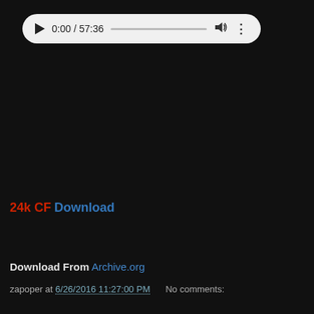[Figure (screenshot): Audio player control bar showing play button, time 0:00 / 57:36, progress bar, volume icon, and more options dots on light gray rounded background]
24k CF Download
[Figure (screenshot): Second audio player bar with play, replay 10s, volume, time 00:00 / 57:36, trash icon, and progress bar on dark background]
Download From Archive.org
zapoper at 6/26/2016 11:27:00 PM    No comments: